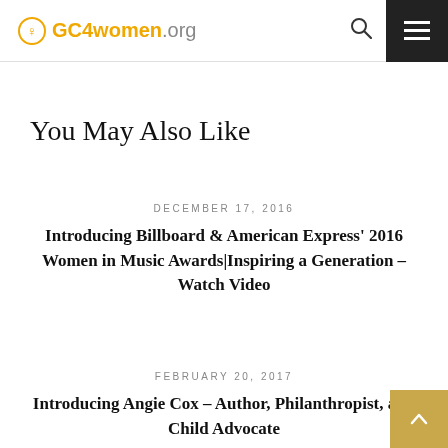GC4women.org
You May Also Like
DECEMBER 17, 2016
Introducing Billboard & American Express' 2016 Women in Music Awards|Inspiring a Generation – Watch Video
FEBRUARY 20, 2017
Introducing Angie Cox – Author, Philanthropist, and Child Advocate